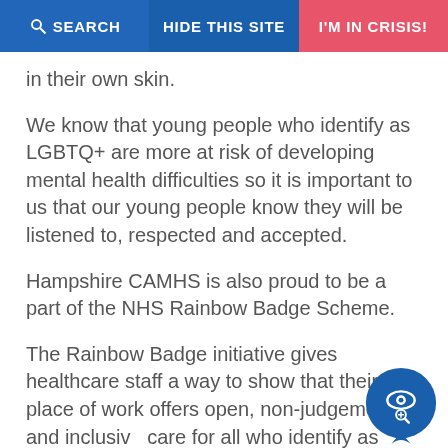SEARCH   HIDE THIS SITE   I'M IN CRISIS!
in their own skin.
We know that young people who identify as LGBTQ+ are more at risk of developing mental health difficulties so it is important to us that our young people know they will be listened to, respected and accepted.
Hampshire CAMHS is also proud to be a part of the NHS Rainbow Badge Scheme.
The Rainbow Badge initiative gives healthcare staff a way to show that their place of work offers open, non-judgemental and inclusive care for all who identify as LGBT+ (lesbian, bisexual, transgender, the + simply means